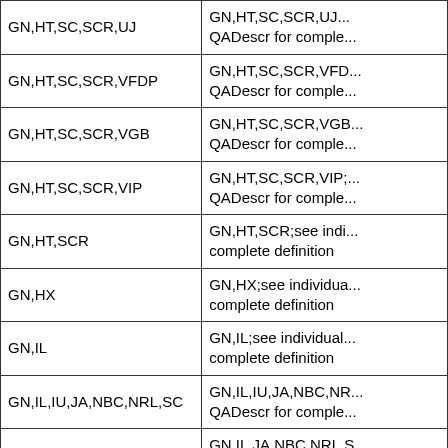| GN,HT,SC,SCR,UJ | GN,HT,SC,SCR,UJ...
QADescr for comple... |
| GN,HT,SC,SCR,VFDP | GN,HT,SC,SCR,VFD...
QADescr for comple... |
| GN,HT,SC,SCR,VGB | GN,HT,SC,SCR,VGB...
QADescr for comple... |
| GN,HT,SC,SCR,VIP | GN,HT,SC,SCR,VIP;...
QADescr for comple... |
| GN,HT,SCR | GN,HT,SCR;see indi...
complete definition |
| GN,HX | GN,HX;see individua...
complete definition |
| GN,IL | GN,IL;see individual...
complete definition |
| GN,IL,IU,JA,NBC,NRL,SC | GN,IL,IU,JA,NBC,NR...
QADescr for comple... |
| GN,IL,JA,NBC,NRL,SC | GN,IL,JA,NBC,NRL,S...
QADescr for comple... |
| GN,IL,LST,NBC,VHB,VIL,VIP,VRJ | GN,IL,LST,NBC,VHB...
individual QADescr f... |
| GN,IL,LST,NBC,VHB,VIL,VRJ | GN,IL,LST,NBC,VHB...
individual QADescr f... |